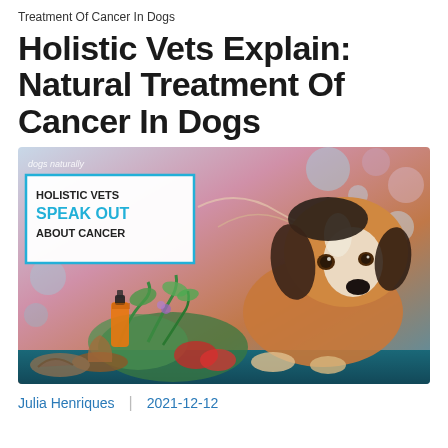Treatment Of Cancer In Dogs
Holistic Vets Explain: Natural Treatment Of Cancer In Dogs
[Figure (illustration): Promotional banner image showing a beagle dog lying down on a teal background, with herbs, mushrooms, and a tincture bottle in the foreground, decorative cell/orb illustrations in the background, and a white text box reading 'HOLISTIC VETS SPEAK OUT ABOUT CANCER'. Watermark reads 'dogs naturally'.]
Julia Henriques | 2021-12-12